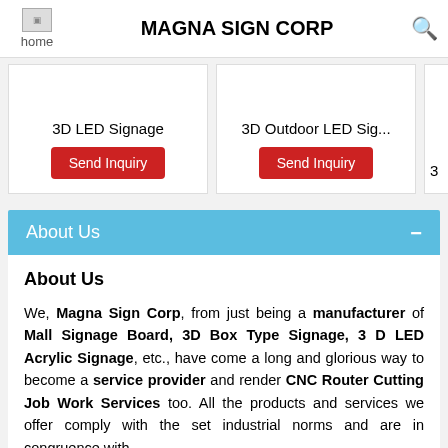MAGNA SIGN CORP
3D LED Signage
Send Inquiry
3D Outdoor LED Sig...
Send Inquiry
About Us
About Us
We, Magna Sign Corp, from just being a manufacturer of Mall Signage Board, 3D Box Type Signage, 3 D LED Acrylic Signage, etc., have come a long and glorious way to become a service provider and render CNC Router Cutting Job Work Services too. All the products and services we offer comply with the set industrial norms and are in congruence with